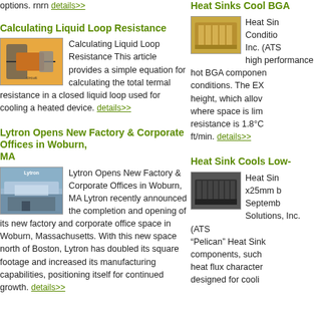options. rnrn details>>
Calculating Liquid Loop Resistance
[Figure (photo): Diagram of a liquid loop resistance circuit schematic with orange and grey components]
Calculating Liquid Loop Resistance This article provides a simple equation for calculating the total termal resistance in a closed liquid loop used for cooling a heated device. details>>
Lytron Opens New Factory & Corporate Offices in Woburn, MA
[Figure (photo): Photo of Lytron's new factory and corporate office building in Woburn, MA]
Lytron Opens New Factory & Corporate Offices in Woburn, MA Lytron recently announced the completion and opening of its new factory and corporate office space in Woburn, Massachusetts. With this new space north of Boston, Lytron has doubled its square footage and increased its manufacturing capabilities, positioning itself for continued growth. details>>
Heat Sinks Cool BGA
[Figure (photo): Photo of a gold-colored BGA heat sink]
Heat Sin Conditio Inc. (ATS high performance hot BGA componen conditions. The EX height, which allov where space is lim resistance is 1.8°C ft/min. details>>
Heat Sink Cools Low-
[Figure (photo): Photo of a dark Pelican heat sink]
Heat Sin x25mm b Septemb Solutions, Inc. (ATS "Pelican" Heat Sink components, such heat flux character designed for cooli